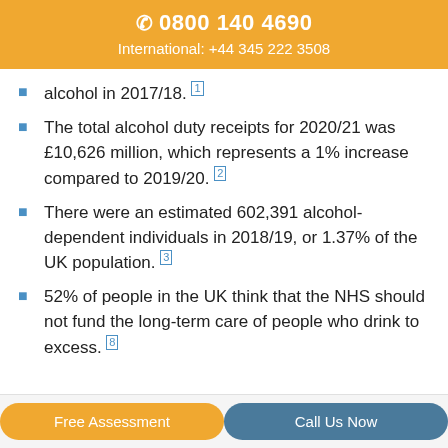📞 0800 140 4690
International: +44 345 222 3508
alcohol in 2017/18. [1]
The total alcohol duty receipts for 2020/21 was £10,626 million, which represents a 1% increase compared to 2019/20. [2]
There were an estimated 602,391 alcohol-dependent individuals in 2018/19, or 1.37% of the UK population. [3]
52% of people in the UK think that the NHS should not fund the long-term care of people who drink to excess. [8]
Free Assessment | Call Us Now